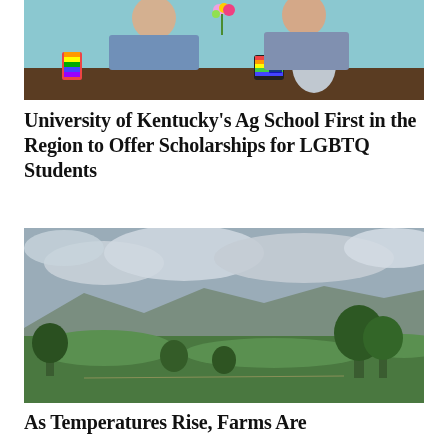[Figure (photo): Two women in blue patterned outfits sitting at a table with colorful rainbow-themed items and a silver pitcher, appearing to celebrate or toast]
University of Kentucky's Ag School First in the Region to Offer Scholarships for LGBTQ Students
[Figure (photo): A wide green farm field with trees and mountains in the background under a cloudy grey sky]
As Temperatures Rise, Farms Are